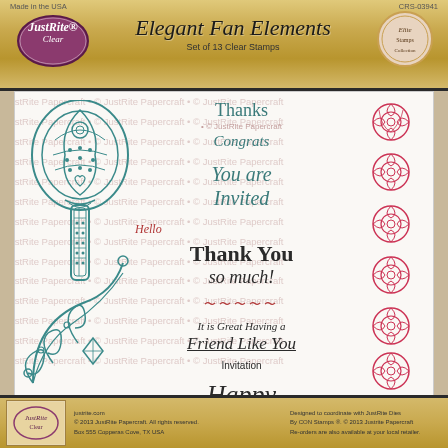[Figure (illustration): JustRite Clear stamp product packaging. Top gold banner with JustRite Clear oval logo on left, 'Elegant Fan Elements Set of 13 Clear Stamps' title in center, decorative badge on right. Main clear stamp area showing teal/blue decorative fan stamp, teal swirl corner ornament, various sentiment texts (Thanks, Congrats, You are Invited, Hello, Thank You so much!, Friend Like You, Invitation, Happy Birthday, On Your Special Day), and pink/red decorative floral border elements on the right side. Copyright watermark text repeated in background. Bottom gold banner with small image, text and product information.]